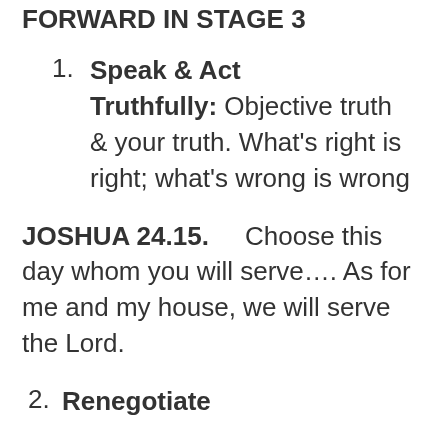FORWARD IN STAGE 3
1. Speak & Act Truthfully: Objective truth & your truth. What's right is right; what's wrong is wrong
JOSHUA 24.15.    Choose this day whom you will serve…. As for me and my house, we will serve the Lord.
2. Renegotiate